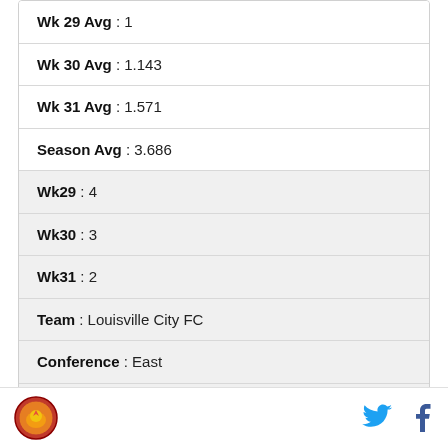Wk 29 Avg : 1
Wk 30 Avg : 1.143
Wk 31 Avg : 1.571
Season Avg : 3.686
Wk29 : 4
Wk30 : 3
Wk31 : 2
Team : Louisville City FC
Conference : East
Wk 29 Avg : 3.857
Wk 30 Avg : 3.143